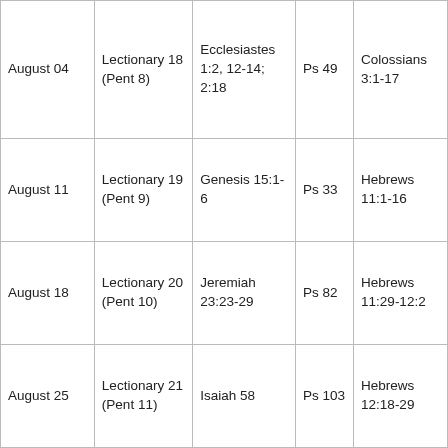| August 04 | Lectionary 18 (Pent 8) | Ecclesiastes 1:2, 12-14; 2:18 | Ps 49 | Colossians 3:1-17 |
| August 11 | Lectionary 19 (Pent 9) | Genesis 15:1-6 | Ps 33 | Hebrews 11:1-16 |
| August 18 | Lectionary 20 (Pent 10) | Jeremiah 23:23-29 | Ps 82 | Hebrews 11:29-12:2 |
| August 25 | Lectionary 21 (Pent 11) | Isaiah 58 | Ps 103 | Hebrews 12:18-29 |